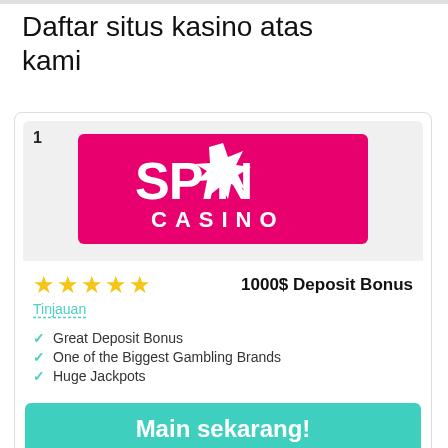Daftar situs kasino atas kami
[Figure (logo): Spin Casino logo — white text SPIN CASINO on a pink/magenta background with a star graphic]
1000$ Deposit Bonus
Tinjauan
Great Deposit Bonus
One of the Biggest Gambling Brands
Huge Jackpots
Main sekarang! Go to Spin Casino